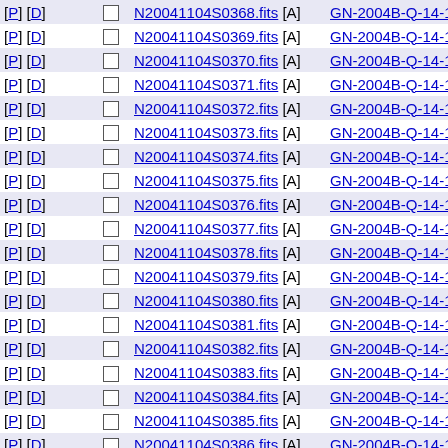| Action |  | File |  | Program ID | Date |
| --- | --- | --- | --- | --- | --- |
| [P] [D] |  | N20041104S0368.fits [A] |  | GN-2004B-Q-14-19-065 | 2004-1 |
| [P] [D] |  | N20041104S0369.fits [A] |  | GN-2004B-Q-14-19-066 | 2004-1 |
| [P] [D] |  | N20041104S0370.fits [A] |  | GN-2004B-Q-14-19-067 | 2004-1 |
| [P] [D] |  | N20041104S0371.fits [A] |  | GN-2004B-Q-14-19-068 | 2004-1 |
| [P] [D] |  | N20041104S0372.fits [A] |  | GN-2004B-Q-14-19-069 | 2004-1 |
| [P] [D] |  | N20041104S0373.fits [A] |  | GN-2004B-Q-14-19-070 | 2004-1 |
| [P] [D] |  | N20041104S0374.fits [A] |  | GN-2004B-Q-14-19-071 | 2004-1 |
| [P] [D] |  | N20041104S0375.fits [A] |  | GN-2004B-Q-14-19-072 | 2004-1 |
| [P] [D] |  | N20041104S0376.fits [A] |  | GN-2004B-Q-14-19-073 | 2004-1 |
| [P] [D] |  | N20041104S0377.fits [A] |  | GN-2004B-Q-14-19-074 | 2004-1 |
| [P] [D] |  | N20041104S0378.fits [A] |  | GN-2004B-Q-14-19-075 | 2004-1 |
| [P] [D] |  | N20041104S0379.fits [A] |  | GN-2004B-Q-14-19-076 | 2004-1 |
| [P] [D] |  | N20041104S0380.fits [A] |  | GN-2004B-Q-14-19-077 | 2004-1 |
| [P] [D] |  | N20041104S0381.fits [A] |  | GN-2004B-Q-14-19-078 | 2004-1 |
| [P] [D] |  | N20041104S0382.fits [A] |  | GN-2004B-Q-14-19-079 | 2004-1 |
| [P] [D] |  | N20041104S0383.fits [A] |  | GN-2004B-Q-14-19-080 | 2004-1 |
| [P] [D] |  | N20041104S0384.fits [A] |  | GN-2004B-Q-14-19-081 | 2004-1 |
| [P] [D] |  | N20041104S0385.fits [A] |  | GN-2004B-Q-14-19-082 | 2004-1 |
| [P] [D] |  | N20041104S0386.fits [A] |  | GN-2004B-Q-14-19-083 | 2004-1 |
| [P] [D] |  | N20041104S0387.fits [A] |  | GN-2004B-Q-14-19-084 | 2004-1 |